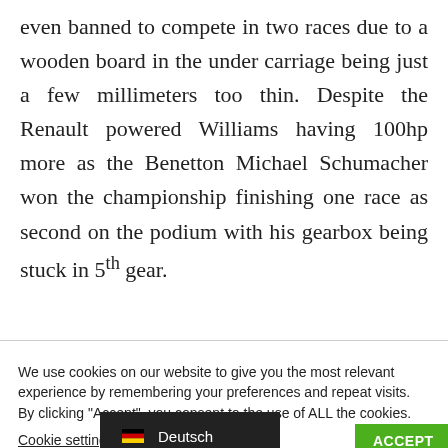even banned to compete in two races due to a wooden board in the under carriage being just a few millimeters too thin. Despite the Renault powered Williams having 100hp more as the Benetton Michael Schumacher won the championship finishing one race as second on the podium with his gearbox being stuck in 5th gear.
We use cookies on our website to give you the most relevant experience by remembering your preferences and repeat visits. By clicking "Accept", you consent to the use of ALL the cookies.
Cookie settings
ACCEPT
🇩🇪 Deutsch